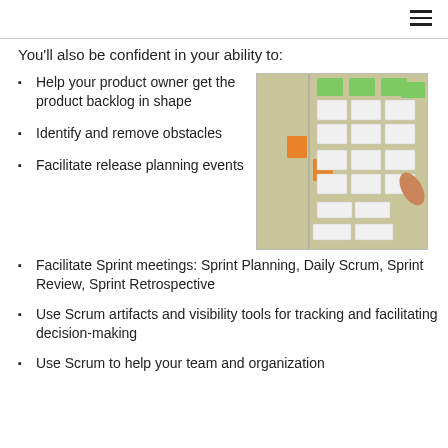You'll also be confident in your ability to:
Help your product owner get the product backlog in shape
[Figure (photo): Photo of a Scrum/Kanban board wall covered with sticky notes (white, orange, green) arranged in columns, with a hand visible on the right side.]
Identify and remove obstacles
Facilitate release planning events
Facilitate Sprint meetings: Sprint Planning, Daily Scrum, Sprint Review, Sprint Retrospective
Use Scrum artifacts and visibility tools for tracking and facilitating decision-making
Use Scrum to help your team and organization